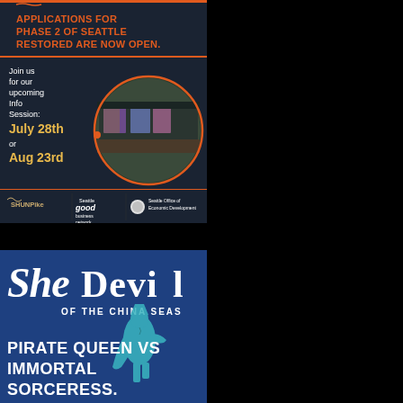[Figure (infographic): Seattle Restored Phase 2 application announcement ad with dark navy background, orange and white text, circular image of art installations in a transit station. Logos for Shunpike, Seattle Good Business Network, and Seattle Office of Economic Development at bottom.]
[Figure (infographic): She Devil of the China Seas promotional poster with blue background, stylized title text, teal silhouette of female pirate figure, and text 'PIRATE QUEEN VS IMMORTAL SORCERESS.']